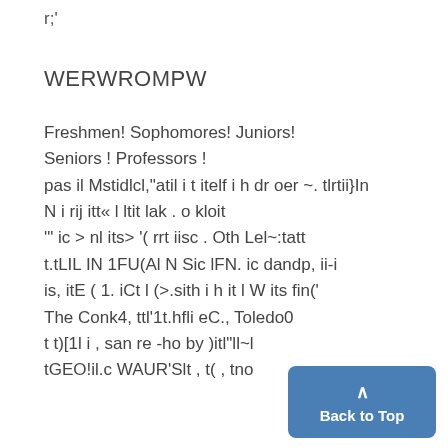r;'
WERWROMPW
Freshmen! Sophomores! Juniors! Seniors ! Professors ! pas il Mstidlcl,"atil i t itelf i h dr oer ~. tlrtii}In N i rij itt« l ltit lak . o kloit '" ic > nl its> '( rrt iisc . Oth Lel~:tatt t.tLIL IN 1FU(Al N Sic lFN. ic dandp, ii-i is, itE ( 1. iCt l (>.sith i h it l W its fin(' The Conk4, ttl'1t.hfli eC., Toledo0 t t)[1l i , san re -ho by )itl"ll~l tGEO!il.c WAUR'Slt , t( , tno